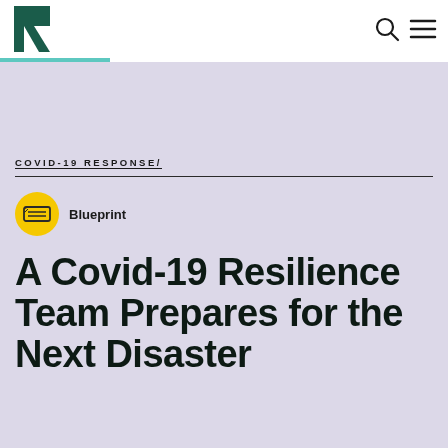[Figure (logo): Dark teal letter R logo mark in top-left of header]
[Figure (other): Search icon (magnifying glass) and hamburger menu icon in top-right of header]
COVID-19 RESPONSE/
[Figure (illustration): Yellow circle icon with a document/blueprint image inside]
Blueprint
A Covid-19 Resilience Team Prepares for the Next Disaster